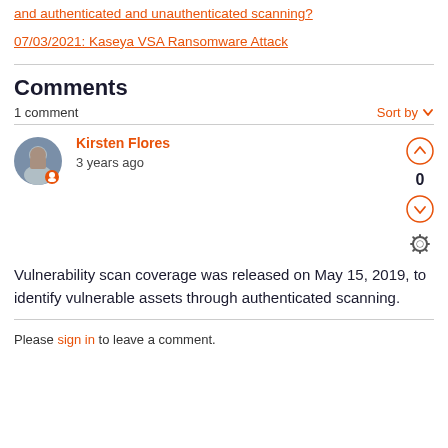and authenticated and unauthenticated scanning?
07/03/2021: Kaseya VSA Ransomware Attack
Comments
1 comment
Sort by
Kirsten Flores
3 years ago
Vulnerability scan coverage was released on May 15, 2019, to identify vulnerable assets through authenticated scanning.
Please sign in to leave a comment.